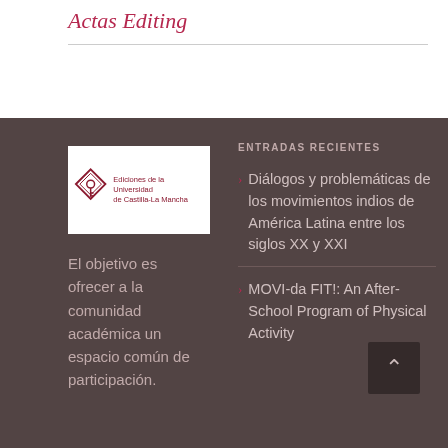Actas Editing
[Figure (logo): Ediciones de la Universidad de Castilla-La Mancha logo — red diamond shape with key icon on left, text on right]
El objetivo es ofrecer a la comunidad académica un espacio común de participación.
ENTRADAS RECIENTES
Diálogos y problemáticas de los movimientos indios de América Latina entre los siglos XX y XXI
MOVI-da FIT!: An After-School Program of Physical Activity